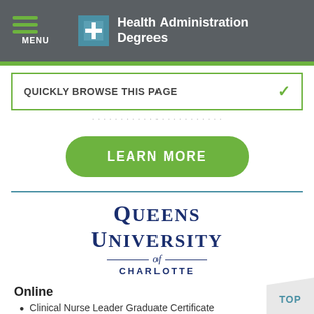Health Administration Degrees
QUICKLY BROWSE THIS PAGE
LEARN MORE
[Figure (logo): Queens University of Charlotte logo]
Online
Clinical Nurse Leader Graduate Certificate
Executive Coaching Certificate